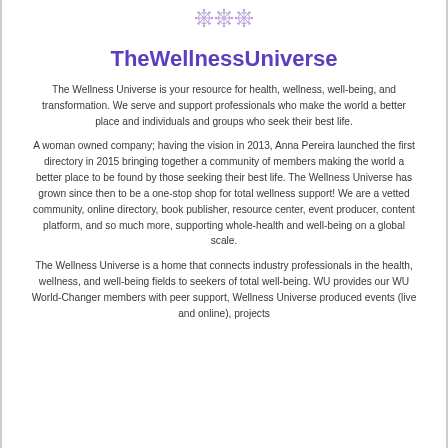[Figure (illustration): Decorative snowflake/mandala ornament at top center of page]
TheWellnessUniverse
The Wellness Universe is your resource for health, wellness, well-being, and transformation. We serve and support professionals who make the world a better place and individuals and groups who seek their best life.
A woman owned company; having the vision in 2013, Anna Pereira launched the first directory in 2015 bringing together a community of members making the world a better place to be found by those seeking their best life. The Wellness Universe has grown since then to be a one-stop shop for total wellness support! We are a vetted community, online directory, book publisher, resource center, event producer, content platform, and so much more, supporting whole-health and well-being on a global scale.
The Wellness Universe is a home that connects industry professionals in the health, wellness, and well-being fields to seekers of total well-being. WU provides our WU World-Changer members with peer support, Wellness Universe produced events (live and online), projects...